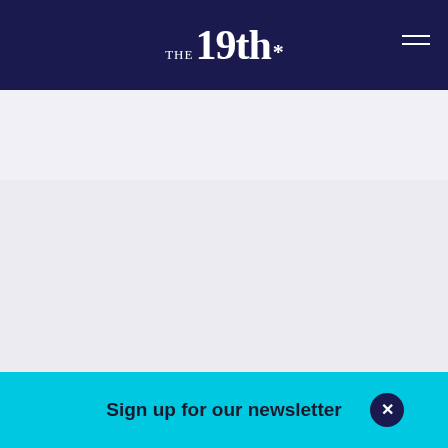THE 19th*
[Figure (photo): Photograph of protesters holding signs outside a U.S. Immigration and Customs Enforcement office in Albuquerque, New Mexico. The image area appears as a light gray placeholder.]
Protesters hold up signs as they gather outside a U.S. Immigration and Customs Enforcement office in Albuquerque, New Mexico, on Wednesday, June 6, 20[18]. Immigra[nts gathered] in respon[se to an] [DACA/ICE/vetera]n
Sign up for our newsletter